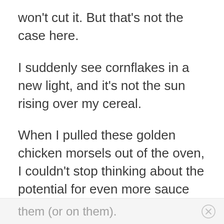won't cut it. But that's not the case here.
I suddenly see cornflakes in a new light, and it's not the sun rising over my cereal.
When I pulled these golden chicken morsels out of the oven, I couldn't stop thinking about the potential for even more sauce possibilities. These fried chicken nuggets are made to handle anything you can throw at them (or on them).